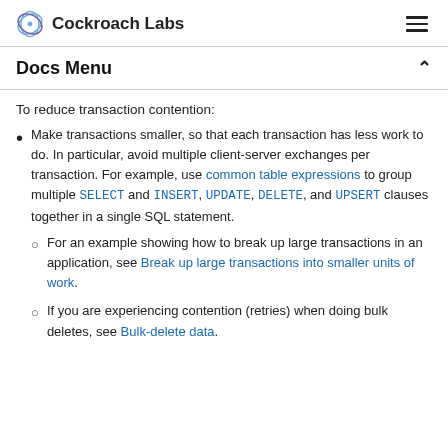Cockroach Labs
Docs Menu
To reduce transaction contention:
Make transactions smaller, so that each transaction has less work to do. In particular, avoid multiple client-server exchanges per transaction. For example, use common table expressions to group multiple SELECT and INSERT, UPDATE, DELETE, and UPSERT clauses together in a single SQL statement.
For an example showing how to break up large transactions in an application, see Break up large transactions into smaller units of work.
If you are experiencing contention (retries) when doing bulk deletes, see Bulk-delete data.